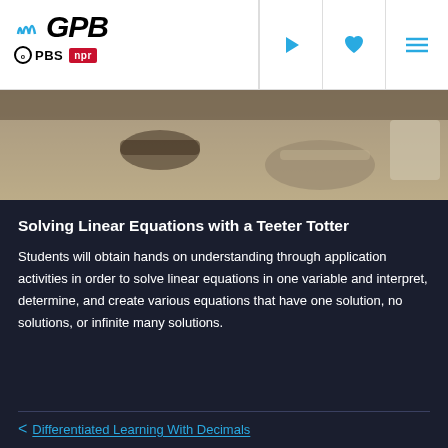GPB | PBS | NPR
[Figure (photo): Close-up photo of student hands working on a hands-on activity on the floor, appearing to involve a teeter totter balance activity.]
Solving Linear Equations with a Teeter Totter
Students will obtain hands on understanding through application activities in order to solve linear equations in one variable and interpret, determine, and create various equations that have one solution, no solutions, or infinite many solutions.
< Differentiated Learning With Decimals